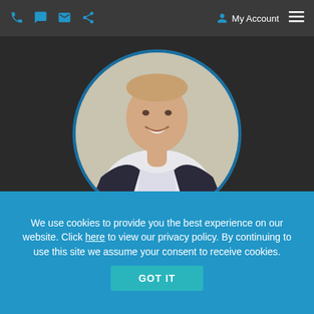My Account
[Figure (photo): Circular profile photo of a smiling man in a dark blazer and white shirt, on a dark background with a blue circular border]
We use cookies to provide you the best experience on our website. Click here to view our privacy policy. By continuing to use this site we assume your consent to receive cookies.
GOT IT